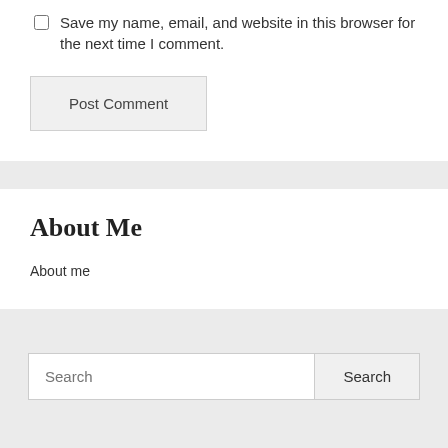Save my name, email, and website in this browser for the next time I comment.
Post Comment
About Me
About me
Search